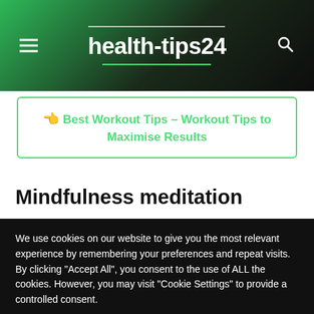health-tips24
Best Workout Tips – Workout Tips to Maximise Results
Mindfulness meditation
[Figure (photo): Partial outdoor photo showing sky and trees, partially obscured by cookie consent overlay]
We use cookies on our website to give you the most relevant experience by remembering your preferences and repeat visits. By clicking "Accept All", you consent to the use of ALL the cookies. However, you may visit "Cookie Settings" to provide a controlled consent.